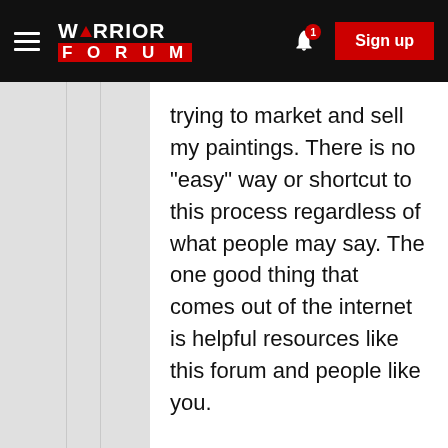Warrior Forum — Sign up
trying to market and sell my paintings. There is no "easy" way or shortcut to this process regardless of what people may say. The one good thing that comes out of the internet is helpful resources like this forum and people like you.
The website service I am using has an integrated newsletter